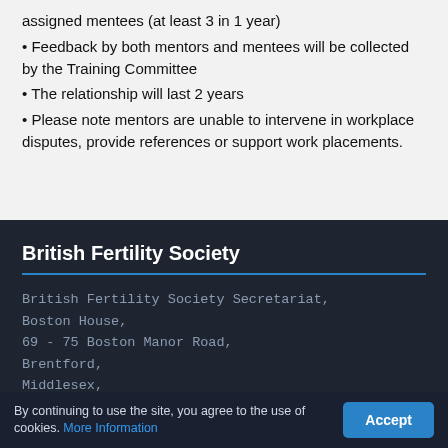assigned mentees (at least 3 in 1 year)
Feedback by both mentors and mentees will be collected by the Training Committee
The relationship will last 2 years
Please note mentors are unable to intervene in workplace disputes, provide references or support work placements.
British Fertility Society
British Fertility Society Secretariat, Boston House, 69 - 75 Boston Manor Road, Brentford, Middlesex, TW8 0U...
By continuing to use the site, you agree to the use of cookies. More Information